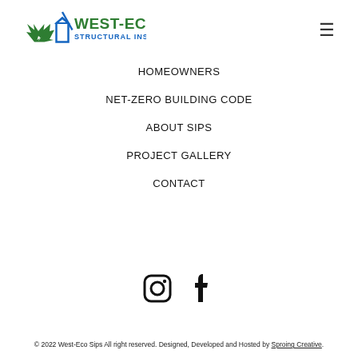[Figure (logo): West-Eco Sips logo with maple leaf and building icon, green and blue text reading WEST-ECO SIPS STRUCTURAL INSULATED PANELS]
HOMEOWNERS
NET-ZERO BUILDING CODE
ABOUT SIPS
PROJECT GALLERY
CONTACT
[Figure (illustration): Instagram and Facebook social media icons in black]
© 2022 West-Eco Sips All right reserved. Designed, Developed and Hosted by Sproing Creative.